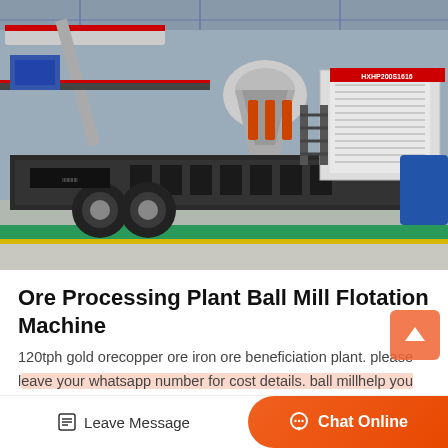[Figure (photo): Industrial mobile ore processing plant / cone crusher mounted on a truck trailer chassis, inside a factory/warehouse. Machine is white and black with orange hydraulic cylinders, bearing label HXHP200S1616.]
Ore Processing Plant Ball Mill Flotation Machine
120tph gold orecopper ore iron ore beneficiation plant. please leave your whatsapp number for cost details. ball millhelp you make 200 mesh ore powder. shaking tableamp spiral chute help you extract
Leave Message
Chat Online